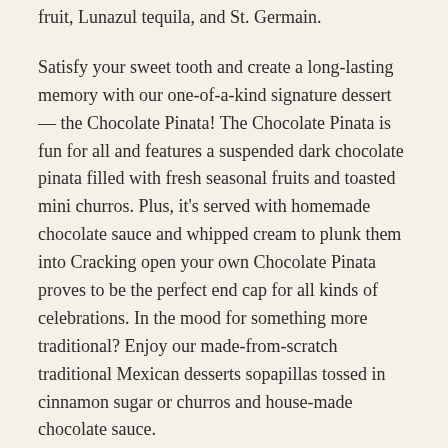fruit, Lunazul tequila, and St. Germain.
Satisfy your sweet tooth and create a long-lasting memory with our one-of-a-kind signature dessert — the Chocolate Pinata! The Chocolate Pinata is fun for all and features a suspended dark chocolate pinata filled with fresh seasonal fruits and toasted mini churros. Plus, it's served with homemade chocolate sauce and whipped cream to plunk them into Cracking open your own Chocolate Pinata proves to be the perfect end cap for all kinds of celebrations. In the mood for something more traditional? Enjoy our made-from-scratch traditional Mexican desserts sopapillas tossed in cinnamon sugar or churros and house-made chocolate sauce.
Get Delivery and Mexican Food To-Go Near 53018
We make it easy to have the Uncle Julio's Tex-Mex restaurant experience in your own home! Place an